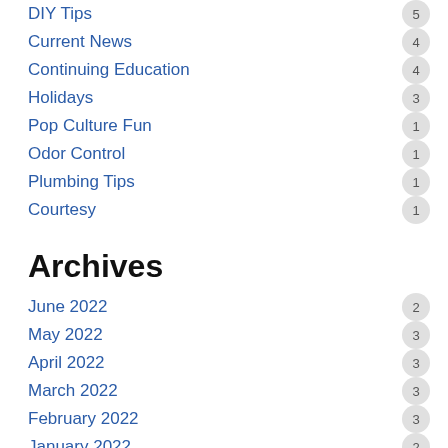Plumbing
DIY Tips 5
Current News 4
Continuing Education 4
Holidays 3
Pop Culture Fun 1
Odor Control 1
Plumbing Tips 1
Courtesy 1
Archives
June 2022 2
May 2022 3
April 2022 3
March 2022 3
February 2022 3
January 2022 2
December 2021 4